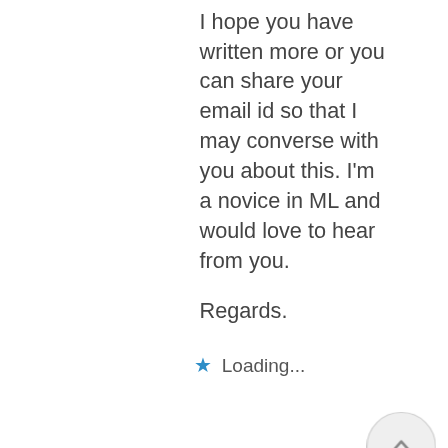I hope you have written more or you can share your email id so that I may converse with you about this. I'm a novice in ML and would love to hear from you.

Regards.
Loading...
Agalloch
Posted at 07:18h